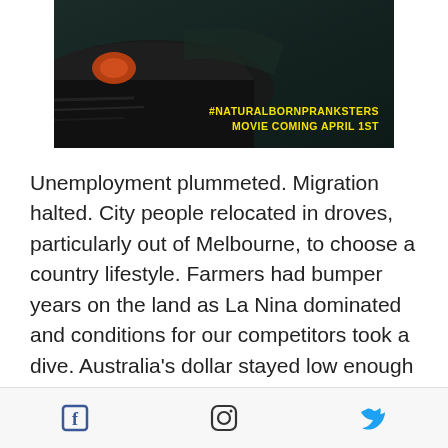[Figure (photo): Dark movie promotional image showing a black car with the text '#NATURALBORNPRANKSTERS MOVIE COMING APRIL 1ST' in yellow text overlay at bottom right]
Unemployment plummeted. Migration halted. City people relocated in droves, particularly out of Melbourne, to choose a country lifestyle. Farmers had bumper years on the land as La Nina dominated and conditions for our competitors took a dive. Australia's dollar stayed low enough that exporters had a field day,
[Figure (other): Social media footer bar with Facebook, Instagram, and Twitter icons]